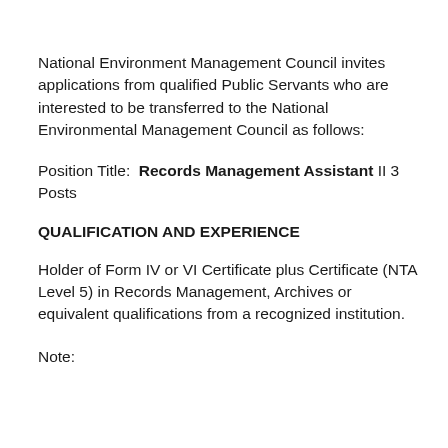National Environment Management Council invites applications from qualified Public Servants who are interested to be transferred to the National Environmental Management Council as follows:
Position Title:  Records Management Assistant II 3 Posts
QUALIFICATION AND EXPERIENCE
Holder of Form IV or VI Certificate plus Certificate (NTA Level 5) in Records Management, Archives or equivalent qualifications from a recognized institution.
Note: